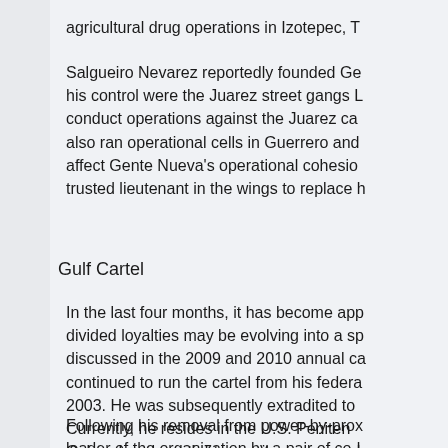agricultural drug operations in Izotepec, T
Salgueiro Nevarez reportedly founded Ge his control were the Juarez street gangs L conduct operations against the Juarez ca also ran operational cells in Guerrero and affect Gente Nueva's operational cohesio trusted lieutenant in the wings to replace h
Gulf Cartel
In the last four months, it has become app divided loyalties may be evolving into a sp discussed in the 2009 and 2010 annual ca continued to run the cartel from his federa 2003. He was subsequently extradited to Currently, he resides in the U.S. Peniten Colorado, where tight security measures over his organization.
Following his removal from power-by-prox leader of the organization by a pair of co-l Tormenta" Cardenas Guillen and Jorge E arrangement shifted when Antonio Carde Mexican military forces in November 2010